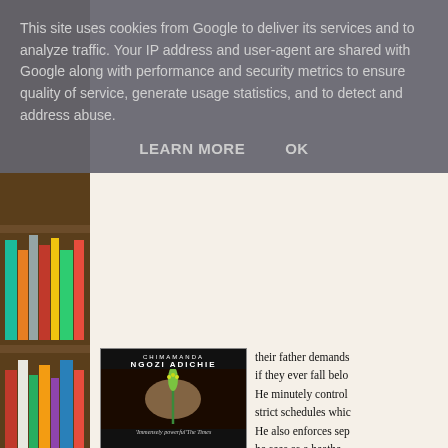This site uses cookies from Google to deliver its services and to analyze traffic. Your IP address and user-agent are shared with Google along with performance and security metrics to ensure quality of service, generate usage statistics, and to detect and address abuse.
LEARN MORE    OK
[Figure (photo): Book cover of a novel by Chimamanda Ngozi Adichie showing a close-up of a plant with the quote 'Immensely powerful' The Times]
their father demands if they ever fall below He minutely controls strict schedules which He also enforces sep he sees as a heathe religious practices. stark contrast to the family, where he is highly respected. Despite the obvious atmosphere at home has had on Kambili, she takes pride Papa.
There are some haunting scenes of domestic violence - Pa of stairs, dripping blood after he has beaten her to the poi